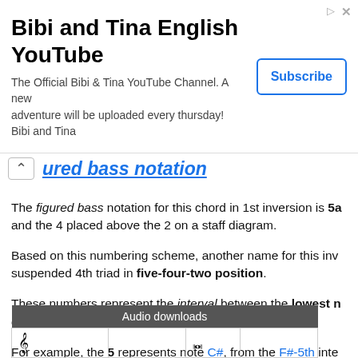[Figure (screenshot): YouTube advertisement banner for 'Bibi and Tina English YouTube' channel with Subscribe button]
ured bass notation
The figured bass notation for this chord in 1st inversion is 5a and the 4 placed above the 2 on a staff diagram.
Based on this numbering scheme, another name for this inv suspended 4th triad in five-four-two position.
These numbers represent the interval between the lowest n original chord root!), and the note in question.
For example, the 5 represents note C#, from the F#-5th inte the chord - now inverted, is F#.
In the same way, the figured bass 4 symbol represents note 2 symbol represents note G#, from the F#-2nd interval
| Audio downloads |
| --- |
| (notation symbol) |  | (note symbol) |  |